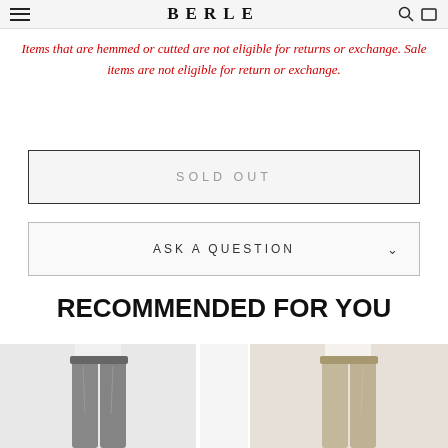BERLE
Items that are hemmed or cutted are not eligible for returns or exchange. Sale items are not eligible for return or exchange.
SOLD OUT
ASK A QUESTION
RECOMMENDED FOR YOU
[Figure (photo): Two product images of dress trousers, one in charcoal gray and one partially visible in tan/khaki]
[Figure (photo): Middle product area - mostly blank/white]
[Figure (photo): Right product image partially cropped tan dress trousers]